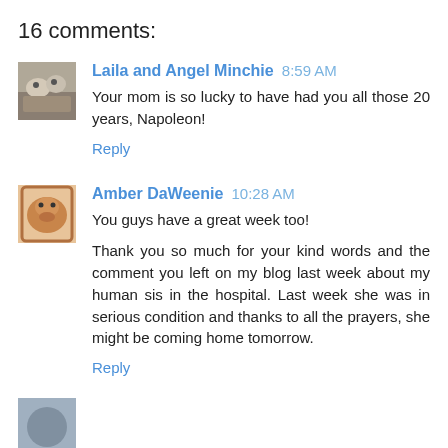16 comments:
Laila and Angel Minchie 8:59 AM
Your mom is so lucky to have had you all those 20 years, Napoleon!
Reply
Amber DaWeenie 10:28 AM
You guys have a great week too!

Thank you so much for your kind words and the comment you left on my blog last week about my human sis in the hospital. Last week she was in serious condition and thanks to all the prayers, she might be coming home tomorrow.
Reply